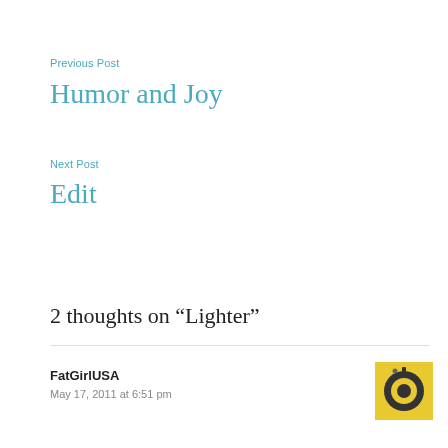Previous Post
Humor and Joy
Next Post
Edit
2 thoughts on “Lighter”
FatGirlUSA
May 17, 2011 at 6:51 pm